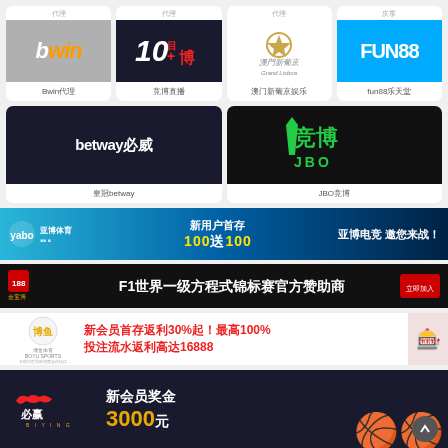[Figure (screenshot): Bwin brand card with logo and label 'Bwin代理']
[Figure (screenshot): 10bet brand card with logo and label '竞博直播']
[Figure (screenshot): Grand Lisboa brand card with logo and label '澳门新葡京娱乐']
[Figure (screenshot): Fun88 brand card with logo and label 'fun88乐天堂']
[Figure (screenshot): betway必威 brand card with label '皇冠betway']
[Figure (screenshot): JBO竞博 brand card with label 'JBO竞博']
[Figure (screenshot): Yabo esports banner: 新用户首存 100送100 亚博电竞 邀您来战！]
[Figure (screenshot): 188金宝博 F1世界一级方程式锦标赛官方赞助商 banner]
[Figure (screenshot): 博鱼体育 banner: 新会员首存返利30%起！最高100% 投注流水返利高达16888]
[Figure (screenshot): 必赢 banner: 新会员奖金 3000元 with basketball players]